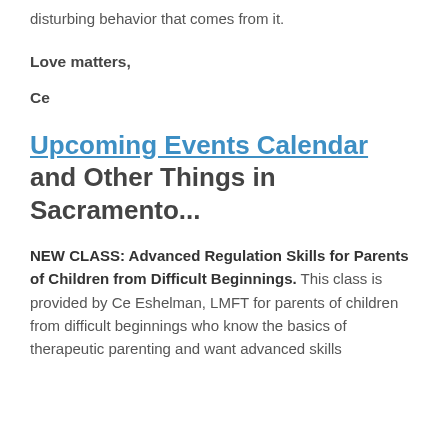disturbing behavior that comes from it.
Love matters,
Ce
Upcoming Events Calendar and Other Things in Sacramento...
NEW CLASS: Advanced Regulation Skills for Parents of Children from Difficult Beginnings. This class is provided by Ce Eshelman, LMFT for parents of children from difficult beginnings who know the basics of therapeutic parenting and want advanced skills